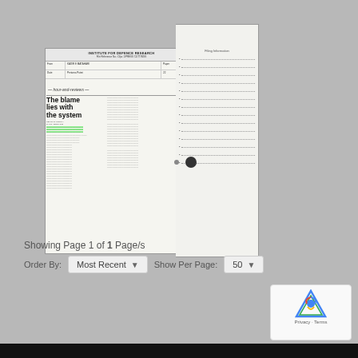[Figure (other): Scanned document thumbnail showing an institutional form/report with header 'INSTITUTE FOR DEFENCE RESEARCH' and a newspaper clipping titled 'The blame lies with the system'. The document has form fields, a stamp/seal, dotted lines on the right side, and highlighted text in green.]
Showing Page 1 of 1 Page/s
Order By: Most Recent   Show Per Page: 50
[Figure (screenshot): reCAPTCHA widget with Google logo and Privacy - Terms text]